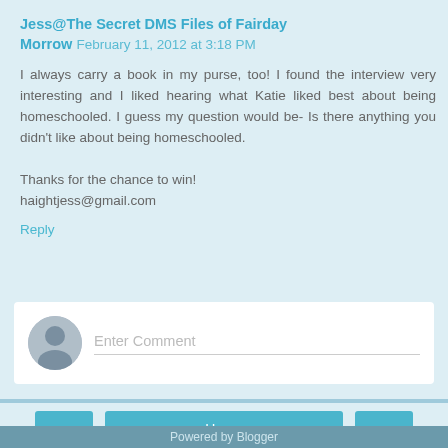Jess@The Secret DMS Files of Fairday Morrow  February 11, 2012 at 3:18 PM
I always carry a book in my purse, too! I found the interview very interesting and I liked hearing what Katie liked best about being homeschooled. I guess my question would be- Is there anything you didn't like about being homeschooled.

Thanks for the chance to win!
haightjess@gmail.com
Reply
Enter Comment
Home
View web version
Powered by Blogger